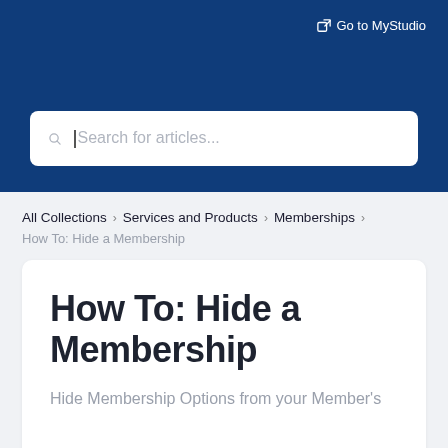Go to MyStudio
[Figure (screenshot): Search bar with placeholder text 'Search for articles...']
All Collections > Services and Products > Memberships
How To: Hide a Membership
How To: Hide a Membership
Hide Membership Options from your Member's